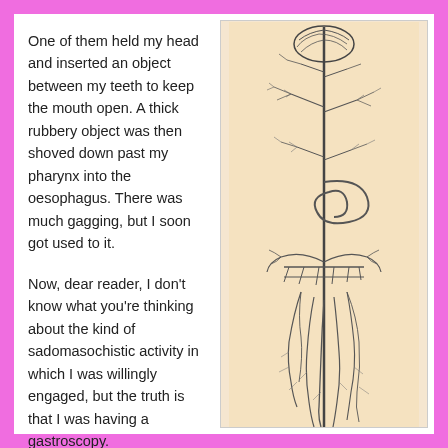One of them held my head and inserted an object between my teeth to keep the mouth open. A thick rubbery object was then shoved down past my pharynx into the oesophagus. There was much gagging, but I soon got used to it.
Now, dear reader, I don't know what you're thinking about the kind of sadomasochistic activity in which I was willingly engaged, but the truth is that I was having a gastroscopy.
[Figure (illustration): A detailed black-and-white botanical/anatomical line drawing on a tan/parchment background, showing a vertical plant-like structure with branching elements, a coiled middle section resembling a stomach or intestinal tract, and hanging root-like structures at the bottom.]